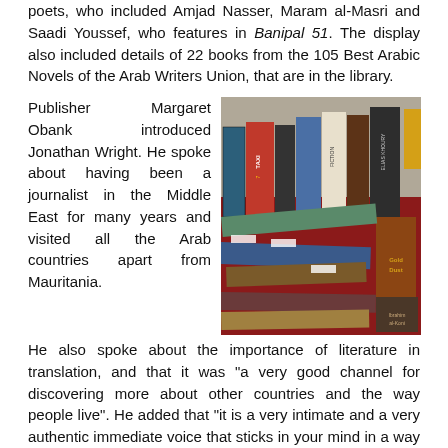poets, who included Amjad Nasser, Maram al-Masri and Saadi Youssef, who features in Banipal 51. The display also included details of 22 books from the 105 Best Arabic Novels of the Arab Writers Union, that are in the library.
Publisher Margaret Obank introduced Jonathan Wright. He spoke about having been a journalist in the Middle East for many years and visited all the Arab countries apart from Mauritania.
[Figure (photo): A display of Arabic literature books on a red table, including visible titles such as TAXI, Gold Dust, and others. Books are standing upright and laid flat on the table.]
He also spoke about the importance of literature in translation, and that it was "a very good channel for discovering more about other countries and the way people live". He added that "it is a very intimate and a very authentic immediate voice that sticks in your mind in a way that other forms of information do not".
He also noted that over the period Banipal has been publishing there had been a steady increase in Arabic literary translation. The